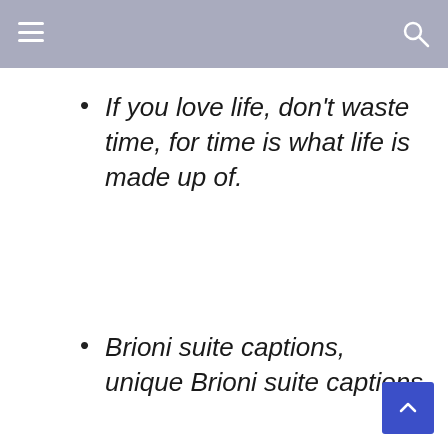If you love life, don't waste time, for time is what life is made up of.
Brioni suite captions, unique Brioni suite captions